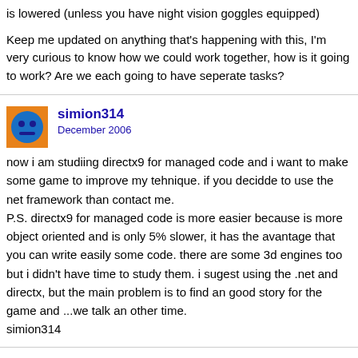is lowered (unless you have night vision goggles equipped)
Keep me updated on anything that's happening with this, I'm very curious to know how we could work together, how is it going to work? Are we each going to have seperate tasks?
simion314
December 2006
now i am studiing directx9 for managed code and i want to make some game to improve my tehnique. if you decidde to use the net framework than contact me.
P.S. directx9 for managed code is more easier because is more object oriented and is only 5% slower, it has the avantage that you can write easily some code. there are some 3d engines too but i didn't have time to study them. i sugest using the .net and directx, but the main problem is to find an good story for the game and ...we talk an other time.
simion314
flyboy_1993